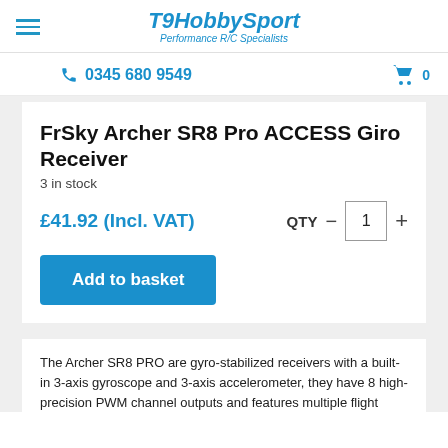T9HobbySport — Performance R/C Specialists
0345 680 9549
FrSky Archer SR8 Pro ACCESS Giro Receiver
3 in stock
£41.92 (Incl. VAT)   QTY  -  1  +
Add to basket
The Archer SR8 PRO are gyro-stabilized receivers with a built-in 3-axis gyroscope and 3-axis accelerometer, they have 8 high-precision PWM channel outputs and features multiple flight